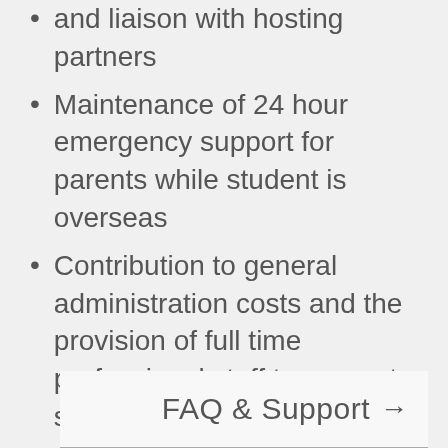and liaison with hosting partners
Maintenance of 24 hour emergency support for parents while student is overseas
Contribution to general administration costs and the provision of full time professional staff to support students in the application process, and their parents while they are on exchange
FAQ & Support →